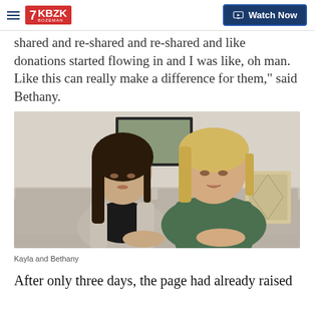KBZK BOZEMAN | Watch Now
shared and re-shared and re-shared and like donations started flowing in and I was like, oh man. Like this can really make a difference for them,” said Bethany.
[Figure (photo): Two women sitting on a grey couch. On the left is a younger woman with long dark brown hair wearing a grey cardigan and dark top. On the right is an older woman with short blonde hair wearing a green short-sleeve shirt. There is a framed picture on the wall behind them and a decorative pillow visible.]
Kayla and Bethany
After only three days, the page had already raised